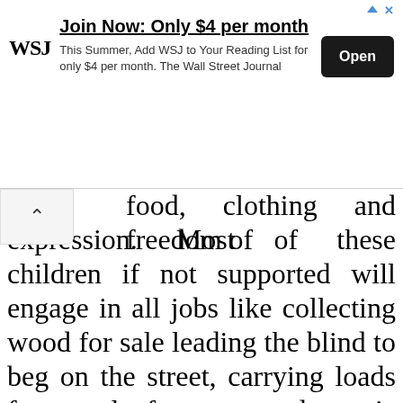[Figure (other): WSJ advertisement banner: 'Join Now: Only $4 per month. This Summer, Add WSJ to Your Reading List for only $4 per month. The Wall Street Journal' with an Open button.]
food, clothing and freedom of expression. Most of these children if not supported will engage in all jobs like collecting wood for sale leading the blind to beg on the street, carrying loads for people for money, domestic servant and some may end up as commercial sex workers. For the area of support for the women in agriculture is a way to empower the to live a sustainable livelihood since most of them have lost their husbands and children either as a